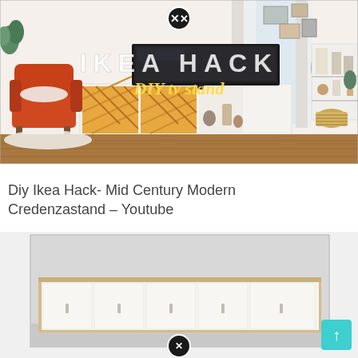[Figure (photo): A living room scene showing a mid-century modern credenza/TV stand (IKEA hack) with herringbone-pattern wooden doors and metal hairpin legs, a TV on top, an orange accent chair on the left, houseplants on the right, and text overlay reading 'IKEA HACK DIY tv stand'. A circular close button (X) is at the top center.]
Diy Ikea Hack- Mid Century Modern Credenzastand – Youtube
[Figure (photo): A white minimalist media console/credenza with a natural wood frame, six white cabinet doors with small handles, positioned against a light grey wall. A teal/cyan scroll-to-top arrow button is visible in the bottom right. A circular close button (X) is at the bottom center.]